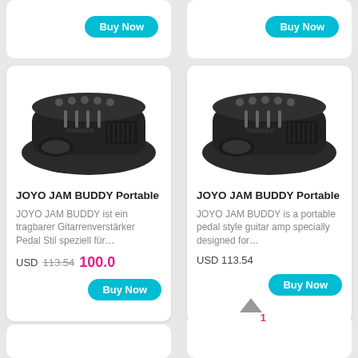[Figure (screenshot): Top partial product card (left) with Buy Now button]
[Figure (screenshot): Top partial product card (right) with Buy Now button]
[Figure (photo): JOYO JAM BUDDY Portable guitar amp pedal, black, left card]
JOYO JAM BUDDY Portable
JOYO JAM BUDDY ist ein tragbarer Gitarrenverstärker Pedal Stil speziell für…
USD 113.54  100.0
[Figure (photo): JOYO JAM BUDDY Portable guitar amp pedal, black, right card]
JOYO JAM BUDDY Portable
JOYO JAM BUDDY is a portable pedal style guitar amp specially designed for…
USD 113.54
1